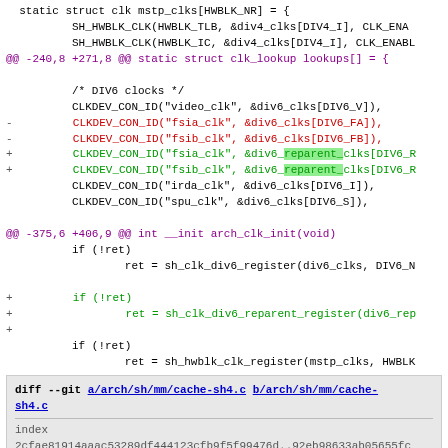Code diff showing changes to clock lookup table and arch_clk_init function, followed by a diff header for cache-sh4.c